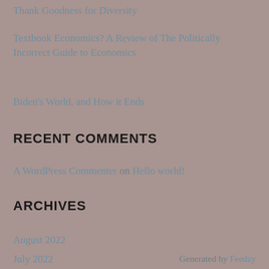Thank Goodness for Diversity
Textbook Economics? A Review of The Politically Incorrect Guide to Economics
Biden's World, and How it Ends
RECENT COMMENTS
A WordPress Commenter on Hello world!
ARCHIVES
August 2022
July 2022
Generated by Feedzy